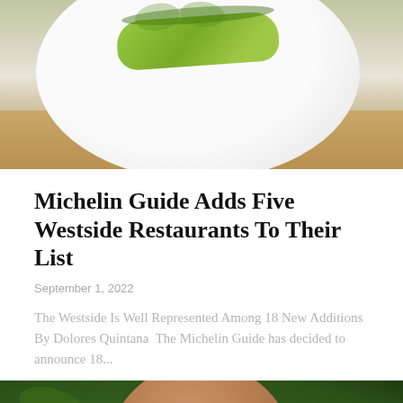[Figure (photo): Close-up photo of a gourmet dish with green food item (possibly avocado or similar) with garnish on a white plate, on a wooden surface]
Michelin Guide Adds Five Westside Restaurants To Their List
September 1, 2022
The Westside Is Well Represented Among 18 New Additions By Dolores Quintana  The Michelin Guide has decided to announce 18...
[Figure (photo): Close-up photo of a person's face, partially cropped, showing forehead, eyebrows, and eyes against a green leafy background]